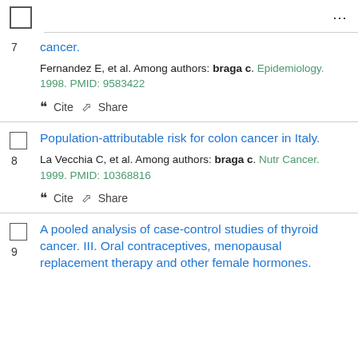7. cancer. Fernandez E, et al. Among authors: braga c. Epidemiology. 1998. PMID: 9583422
8. Population-attributable risk for colon cancer in Italy. La Vecchia C, et al. Among authors: braga c. Nutr Cancer. 1999. PMID: 10368816
9. A pooled analysis of case-control studies of thyroid cancer. III. Oral contraceptives, menopausal replacement therapy and other female hormones.